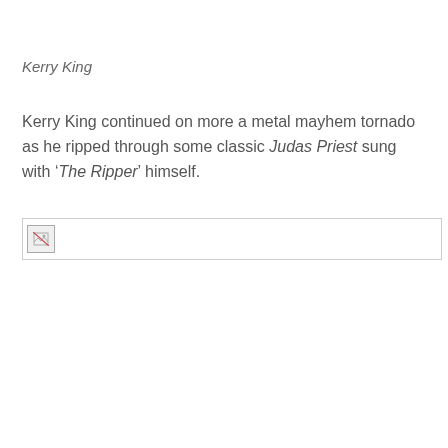Kerry King
Kerry King continued on more a metal mayhem tornado as he ripped through some classic Judas Priest sung with ‘The Ripper’ himself.
[Figure (photo): Broken image placeholder indicating a missing photograph]